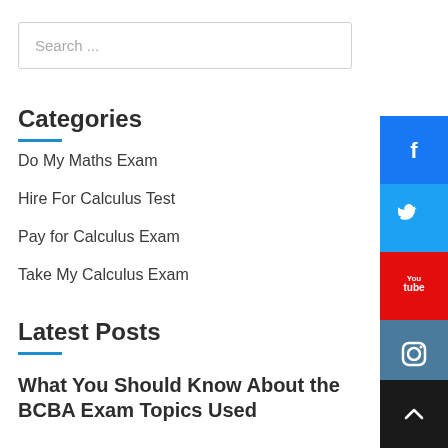Search ...
Categories
Do My Maths Exam
Hire For Calculus Test
Pay for Calculus Exam
Take My Calculus Exam
Latest Posts
What You Should Know About the BCBA Exam Topics Used